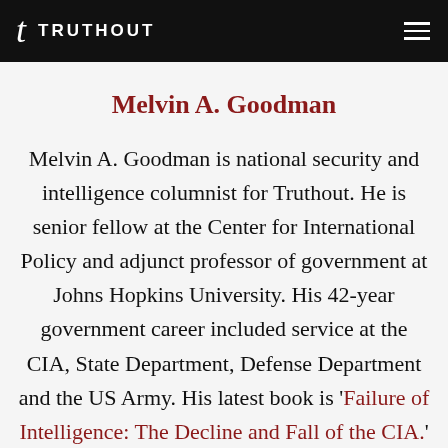TRUTHOUT
Melvin A. Goodman
Melvin A. Goodman is national security and intelligence columnist for Truthout. He is senior fellow at the Center for International Policy and adjunct professor of government at Johns Hopkins University. His 42-year government career included service at the CIA, State Department, Defense Department and the US Army. His latest book is 'Failure of Intelligence: The Decline and Fall of the CIA.'